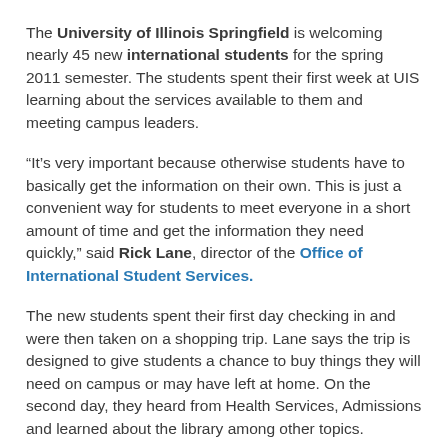The University of Illinois Springfield is welcoming nearly 45 new international students for the spring 2011 semester. The students spent their first week at UIS learning about the services available to them and meeting campus leaders.
“It’s very important because otherwise students have to basically get the information on their own. This is just a convenient way for students to meet everyone in a short amount of time and get the information they need quickly,” said Rick Lane, director of the Office of International Student Services.
The new students spent their first day checking in and were then taken on a shopping trip. Lane says the trip is designed to give students a chance to buy things they will need on campus or may have left at home. On the second day, they heard from Health Services, Admissions and learned about the library among other topics.
“Today in orientation I think it’s the first day in our college. It